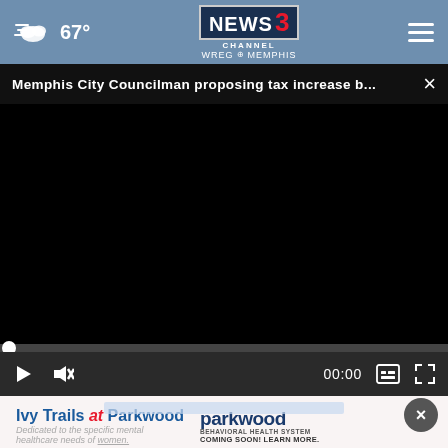67° NEWS CHANNEL 3 WREG MEMPHIS
Memphis City Councilman proposing tax increase b...
[Figure (screenshot): Black video player area with no content loaded, showing 00:00 timestamp]
[Figure (advertisement): Ivy Trails at Parkwood / Parkwood Behavioral Health System advertisement. Text: Ivy Trails at Parkwood - Dedicated to the specific mental healthcare needs of women. Parkwood BEHAVIORAL HEALTH SYSTEM COMING SOON! LEARN MORE.]